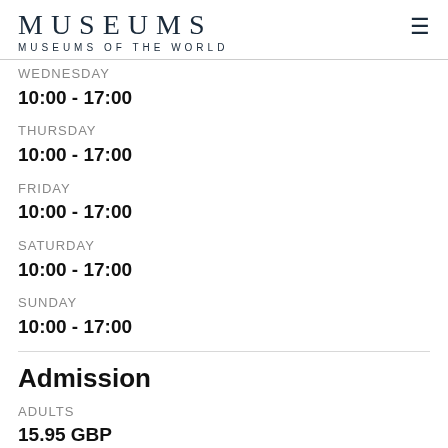MUSEUMS
MUSEUMS OF THE WORLD
WEDNESDAY
10:00 - 17:00
THURSDAY
10:00 - 17:00
FRIDAY
10:00 - 17:00
SATURDAY
10:00 - 17:00
SUNDAY
10:00 - 17:00
Admission
ADULTS
15.95 GBP